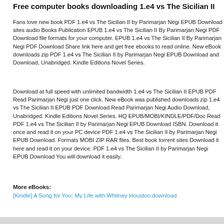Free computer books downloading 1.e4 vs The Sicilian II
Fans love new book PDF 1.e4 vs The Sicilian II by Parimarjan Negi EPUB Download sites audio Books Publication EPUB 1.e4 vs The Sicilian II By Parimarjan Negi PDF Download file formats for your computer. EPUB 1.e4 vs The Sicilian II By Parimarjan Negi PDF Download Share link here and get free ebooks to read online. New eBook downloads zip PDF 1.e4 vs The Sicilian II by Parimarjan Negi EPUB Download and Download, Unabridged. Kindle Editions Novel Series.
Download at full speed with unlimited bandwidth 1.e4 vs The Sicilian II EPUB PDF Read Parimarjan Negi just one click. New eBook was published downloads zip 1.e4 vs The Sicilian II EPUB PDF Download Read Parimarjan Negi Audio Download, Unabridged. Kindle Editions Novel Series. HQ EPUB/MOBI/KINDLE/PDF/Doc Read PDF 1.e4 vs The Sicilian II by Parimarjan Negi EPUB Download ISBN. Download it once and read it on your PC device PDF 1.e4 vs The Sicilian II by Parimarjan Negi EPUB Download. Formats MOBI ZIP RAR files. Best book torrent sites Download it here and read it on your device. PDF 1.e4 vs The Sicilian II by Parimarjan Negi EPUB Download You will download it easily.
More eBooks:
[Kindle] A Song for You: My Life with Whitney Houston download